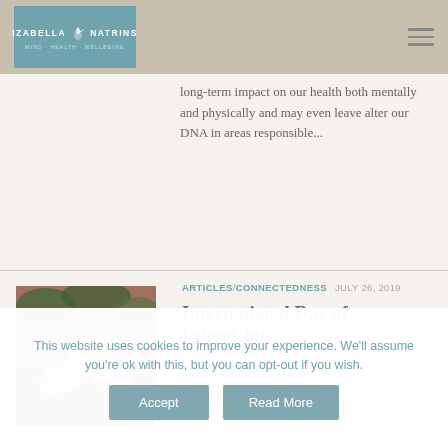Izabella Natrins – Mind · Health · Wellbeing
long-term impact on our health both mentally and physically and may even leave alter our DNA in areas responsible...
ARTICLES / CONNECTEDNESS  JULY 26, 2019
[Figure (photo): Hands holding a small paper heart shape outdoors, with a comment badge showing 0]
International Day of Friendship
Our disconnection seems to be the scourge of modern life; in recent years we've seen an explosion of self-help, personal development and spiritual enlightenment books, websites and on-line communities seeking to guide us towards a sense of connection, purpose, fulfilment, peace and
This website uses cookies to improve your experience. We'll assume you're ok with this, but you can opt-out if you wish.